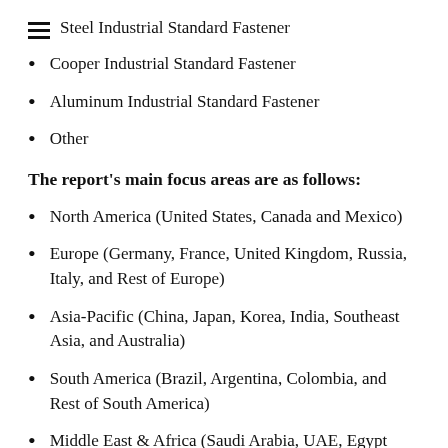Steel Industrial Standard Fastener
Cooper Industrial Standard Fastener
Aluminum Industrial Standard Fastener
Other
The report's main focus areas are as follows:
North America (United States, Canada and Mexico)
Europe (Germany, France, United Kingdom, Russia, Italy, and Rest of Europe)
Asia-Pacific (China, Japan, Korea, India, Southeast Asia, and Australia)
South America (Brazil, Argentina, Colombia, and Rest of South America)
Middle East & Africa (Saudi Arabia, UAE, Egypt